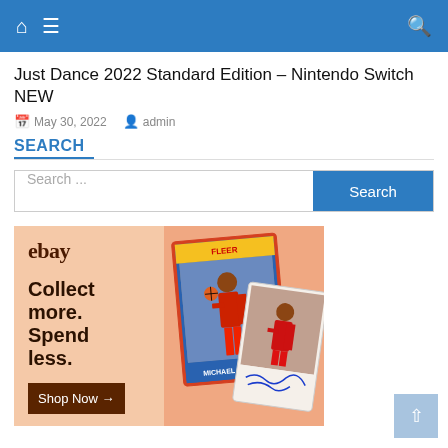Navigation bar with home, menu, and search icons
Just Dance 2022 Standard Edition – Nintendo Switch NEW
May 30, 2022  admin
SEARCH
[Figure (screenshot): Search input box with placeholder 'Search ...' and a blue 'Search' button on the right]
[Figure (illustration): eBay advertisement banner with peach background on left showing ebay logo, 'Collect more. Spend less.' tagline and 'Shop Now' button. Right side shows basketball trading cards including a Michael Jordan Fleer card.]